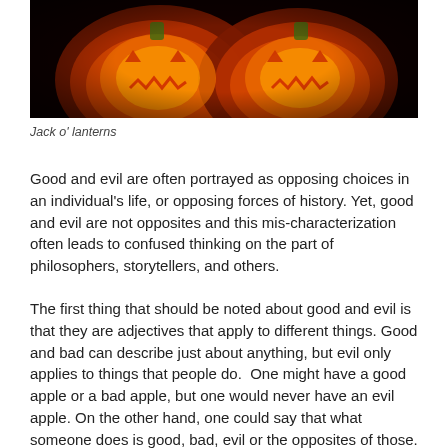[Figure (photo): Two carved jack-o-lanterns glowing orange against a dark background, showing illuminated carved faces]
Jack o' lanterns
Good and evil are often portrayed as opposing choices in an individual's life, or opposing forces of history. Yet, good and evil are not opposites and this mis-characterization often leads to confused thinking on the part of philosophers, storytellers, and others.
The first thing that should be noted about good and evil is that they are adjectives that apply to different things. Good and bad can describe just about anything, but evil only applies to things that people do.  One might have a good apple or a bad apple, but one would never have an evil apple. On the other hand, one could say that what someone does is good, bad, evil or the opposites of those.